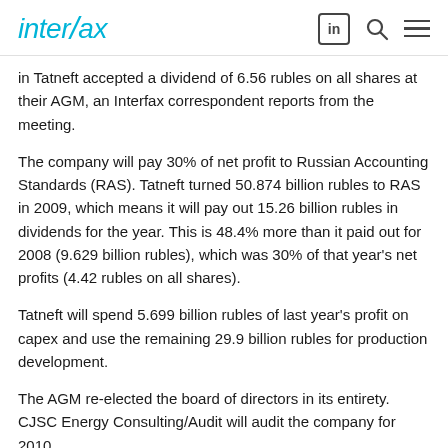interfax
in Tatneft accepted a dividend of 6.56 rubles on all shares at their AGM, an Interfax correspondent reports from the meeting.
The company will pay 30% of net profit to Russian Accounting Standards (RAS). Tatneft turned 50.874 billion rubles to RAS in 2009, which means it will pay out 15.26 billion rubles in dividends for the year. This is 48.4% more than it paid out for 2008 (9.629 billion rubles), which was 30% of that year's net profits (4.42 rubles on all shares).
Tatneft will spend 5.699 billion rubles of last year's profit on capex and use the remaining 29.9 billion rubles for production development.
The AGM re-elected the board of directors in its entirety. CJSC Energy Consulting/Audit will audit the company for 2010.
Tatneft's share capital is 2,326,199,000 rubles split into